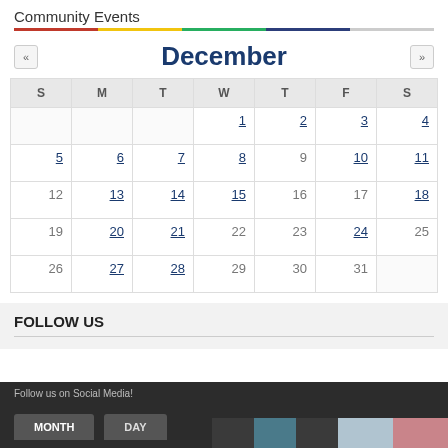Community Events
December
| S | M | T | W | T | F | S |
| --- | --- | --- | --- | --- | --- | --- |
|  |  |  | 1 | 2 | 3 | 4 |
| 5 | 6 | 7 | 8 | 9 | 10 | 11 |
| 12 | 13 | 14 | 15 | 16 | 17 | 18 |
| 19 | 20 | 21 | 22 | 23 | 24 | 25 |
| 26 | 27 | 28 | 29 | 30 | 31 |  |
FOLLOW US
Follow us on Social Media!